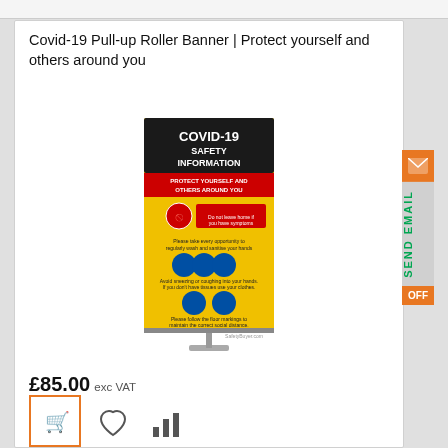Covid-19 Pull-up Roller Banner | Protect yourself and others around you
[Figure (photo): Covid-19 Safety Information pull-up roller banner on a stand. The banner has a black header reading COVID-19 SAFETY INFORMATION, a red section with PROTECT YOURSELF AND OTHERS AROUND YOU, and a yellow body with safety icons and instructions.]
£85.00 exc VAT